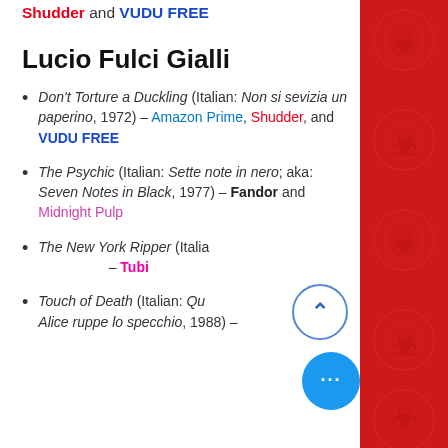Shudder and VUDU FREE
Lucio Fulci Gialli
Don't Torture a Duckling (Italian: Non si sevizia un paperino, 1972) – Amazon Prime, Shudder, and VUDU FREE
The Psychic (Italian: Sette note in nero; aka: Seven Notes in Black, 1977) – Fandor and Midnight Pulp
The New York Ripper (Italian: Lo squartatore di New York, 1982) – Tubi
Touch of Death (Italian: Quando Alice ruppe lo specchio, 1988) –